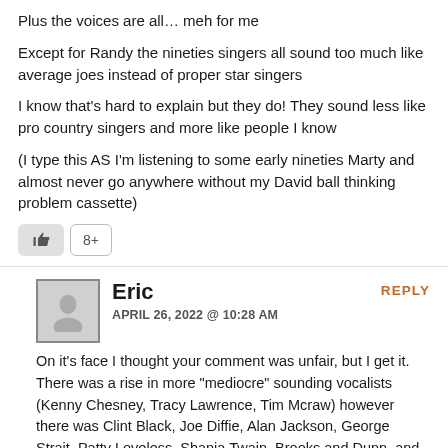Plus the voices are all… meh for me
Except for Randy the nineties singers all sound too much like average joes instead of proper star singers
I know that's hard to explain but they do! They sound less like pro country singers and more like people I know
(I type this AS I'm listening to some early nineties Marty and almost never go anywhere without my David ball thinking problem cassette)
Eric
APRIL 26, 2022 @ 10:28 AM
REPLY
On it's face I thought your comment was unfair, but I get it. There was a rise in more "mediocre" sounding vocalists (Kenny Chesney, Tracy Lawrence, Tim Mcraw) however there was Clint Black, Joe Diffie, Alan Jackson, George Strait, Patty Loveless, Shania Twain, Brooks and Dunn, and others of course.